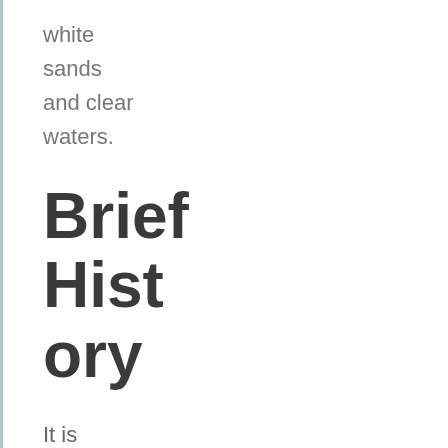white sands and clear waters.
Brief History
It is believed that Ohrid – Macedonia is one of the